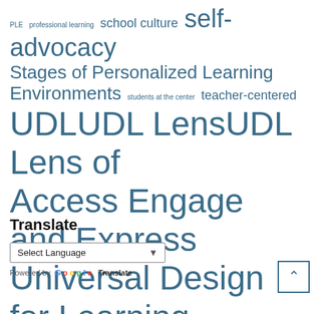PLE professional learning school culture self-advocacy Stages of Personalized Learning Environments students at the center teacher-centered UDL UDL Lens UDL Lens of Access Engage and Express Universal Design for Learning voice
Translate
Select Language
Powered by Google Translate